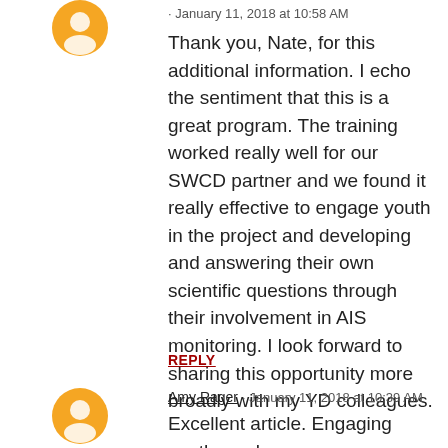[Figure (illustration): Orange circular avatar/user icon at top left]
· January 11, 2018 at 10:58 AM
Thank you, Nate, for this additional information. I echo the sentiment that this is a great program. The training worked really well for our SWCD partner and we found it really effective to engage youth in the project and developing and answering their own scientific questions through their involvement in AIS monitoring. I look forward to sharing this opportunity more broadly with my YD colleagues.
REPLY
[Figure (illustration): Orange circular avatar/user icon for Amy Rager]
Amy Rager · January 11, 2018 at 10:39 AM
Excellent article. Engaging youth can be